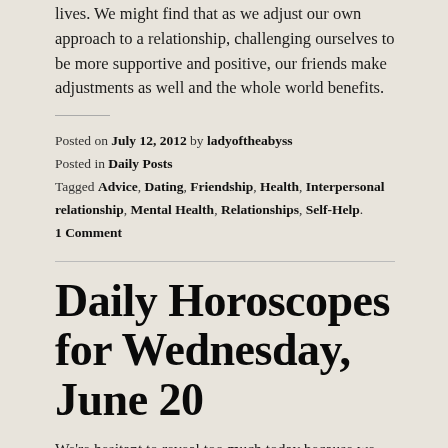lives. We might find that as we adjust our own approach to a relationship, challenging ourselves to be more supportive and positive, our friends make adjustments as well and the whole world benefits.
Posted on July 12, 2012 by ladyoftheabyss
Posted in Daily Posts
Tagged Advice, Dating, Friendship, Health, Interpersonal relationship, Mental Health, Relationships, Self-Help.
1 Comment
Daily Horoscopes for Wednesday, June 20
We're hesitant to reveal too much today because we worry about how others might react. The cautious Cancer Moon is supported by the Sun's shift into Cancer at 7:08 pm EDT